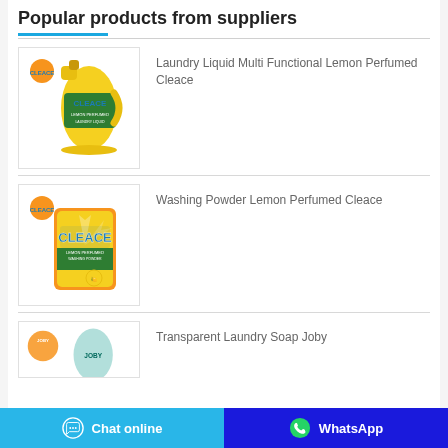Popular products from suppliers
[Figure (photo): Yellow Cleace laundry liquid bottle with green and blue label]
Laundry Liquid Multi Functional Lemon Perfumed Cleace
[Figure (photo): Orange and yellow Cleace washing powder bag with lemon and green design]
Washing Powder Lemon Perfumed Cleace
[Figure (photo): Transparent Laundry Soap Joby product image (partial)]
Transparent Laundry Soap Joby
Chat online   WhatsApp